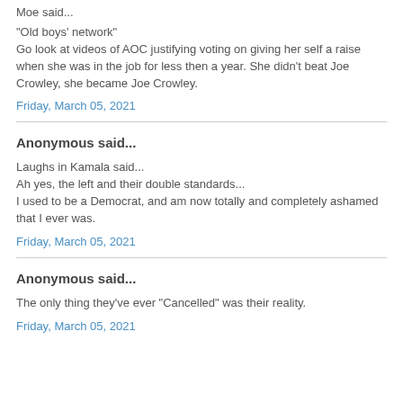Moe said...
"Old boys' network"
Go look at videos of AOC justifying voting on giving her self a raise when she was in the job for less then a year. She didn't beat Joe Crowley, she became Joe Crowley.
Friday, March 05, 2021
Anonymous said...
Laughs in Kamala said...
Ah yes, the left and their double standards...
I used to be a Democrat, and am now totally and completely ashamed that I ever was.
Friday, March 05, 2021
Anonymous said...
The only thing they've ever "Cancelled" was their reality.
Friday, March 05, 2021